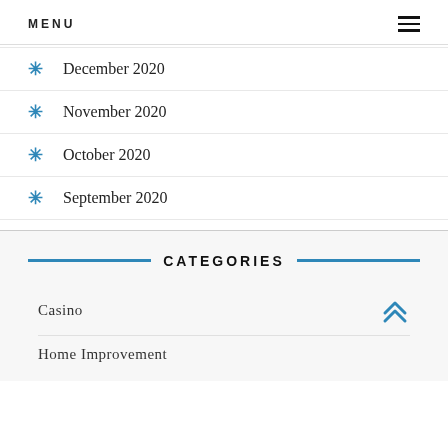MENU
December 2020
November 2020
October 2020
September 2020
CATEGORIES
Casino
Home Improvement